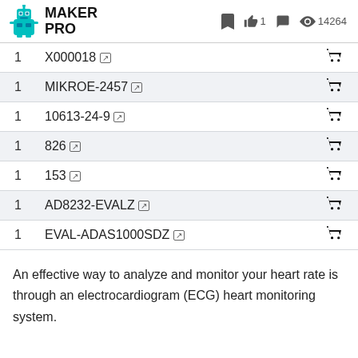MAKER PRO — bookmark, like 1, comment, views 14264
| Qty | SKU | Cart |
| --- | --- | --- |
| 1 | X000018 ↗ | 🛒 |
| 1 | MIKROE-2457 ↗ | 🛒 |
| 1 | 10613-24-9 ↗ | 🛒 |
| 1 | 826 ↗ | 🛒 |
| 1 | 153 ↗ | 🛒 |
| 1 | AD8232-EVALZ ↗ | 🛒 |
| 1 | EVAL-ADAS1000SDZ ↗ | 🛒 |
An effective way to analyze and monitor your heart rate is through an electrocardiogram (ECG) heart monitoring system.